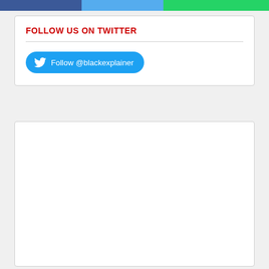[Figure (other): Row of three social share buttons: Facebook (blue), Twitter (light blue), WhatsApp (green)]
FOLLOW US ON TWITTER
[Figure (other): Twitter Follow button for @blackexplainer]
[Figure (other): Empty white box / advertisement placeholder]